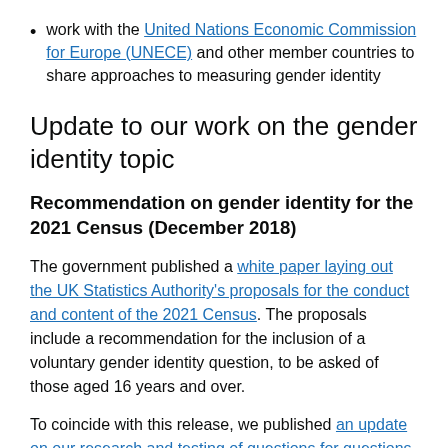work with the United Nations Economic Commission for Europe (UNECE) and other member countries to share approaches to measuring gender identity
Update to our work on the gender identity topic
Recommendation on gender identity for the 2021 Census (December 2018)
The government published a white paper laying out the UK Statistics Authority's proposals for the conduct and content of the 2021 Census. The proposals include a recommendation for the inclusion of a voluntary gender identity question, to be asked of those aged 16 years and over.
To coincide with this release, we published an update on our research and testing of questions for questions and topics for